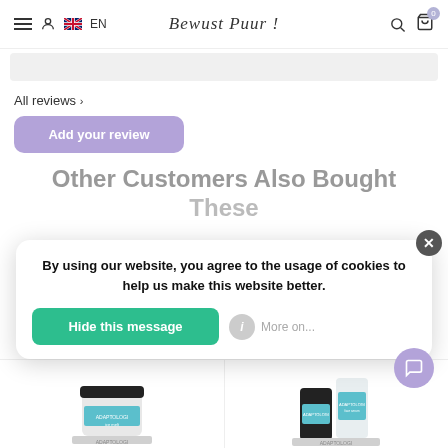Bewust Puur! — navigation bar with menu, account, flag EN, logo, search, cart (0)
All reviews >
Add your review
Other Customers Also Bought These
By using our website, you agree to the usage of cookies to help us make this website better.
Hide this message
More on...
[Figure (photo): Two product images (Adaptologi skincare jars/bottles) at bottom of page]
[Figure (screenshot): Cookie consent overlay with Hide this message button and More on... option]